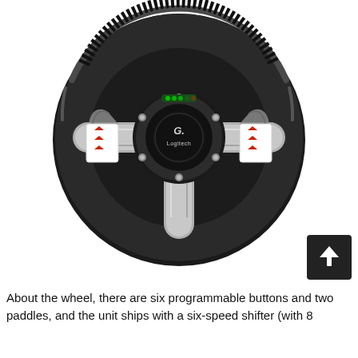[Figure (photo): A Logitech G27 racing steering wheel with black leather grip, brushed aluminum spokes, red paddle-shift buttons on the left and right, a Logitech logo center hub with silver bolts, gray paddle shifters behind the wheel, and an LED indicator strip at the top of the hub.]
About the wheel, there are six programmable buttons and two paddles, and the unit ships with a six-speed shifter (with 8